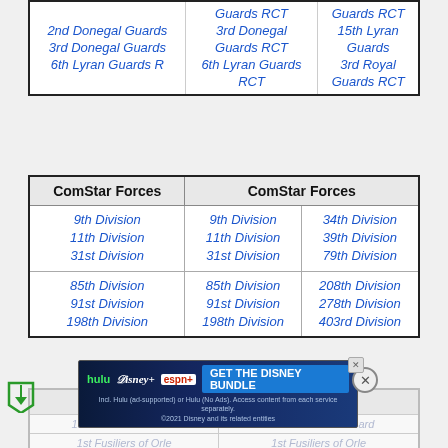| [col1] | [col2] | [col3] |
| --- | --- | --- |
| 2nd Donegal Guards
3rd Donegal Guards
6th Lyran Guards R[CT] | Guards RCT
3rd Donegal Guards RCT
6th Lyran Guards RCT | Guards RCT
15th Lyran Guards
3rd Royal Guards RCT |
| ComStar Forces | ComStar Forces |
| --- | --- |
| 9th Division
11th Division
31st Division | 9th Division
11th Division
31st Division | 34th Division
39th Division
79th Division |
| 85th Division
91st Division
198th Division | 85th Division
91st Division
198th Division | 208th Division
278th Division
403rd Division |
[Figure (other): Advertisement banner for Disney Bundle featuring Hulu, Disney+, ESPN+ logos with 'GET THE DISNEY BUNDLE' call to action]
| F[ree Worlds] | [col2] |
| --- | --- |
| 1st Free Worlds Guar[ds] | 1st Free Worlds Guard[s] |
| 1st Fusiliers of Orle[ans] | 1st Fusiliers of Orle[ans] |